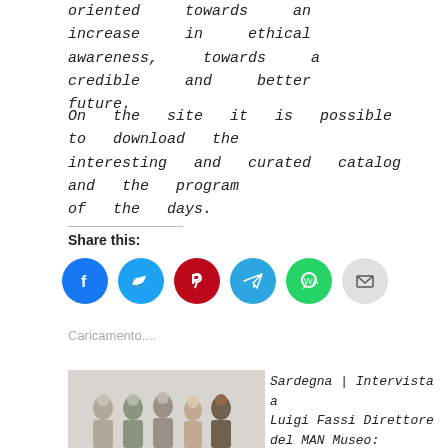oriented towards an increase in ethical awareness, towards a credible and better future.
On the site it is possible to download the interesting and curated catalog and the program of the days.
Share this:
[Figure (infographic): Row of six social share icon circles: Facebook (blue), Twitter (blue), Pinterest (red), Telegram (light blue), WhatsApp (green), Email (light grey)]
Caricamento....
[Figure (photo): Group photo of several people standing together against a white wall]
Sardegna | Intervista a Luigi Fassi Direttore del MAN Museo: l'isola